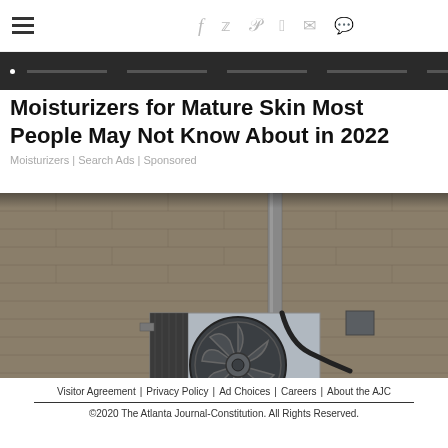≡  f  🐦  p  reddit  ✉  💬
[Figure (other): Dark advertisement/media bar with navigation dots and progress-line indicators]
Moisturizers for Mature Skin Most People May Not Know About in 2022
Moisturizers | Search Ads | Sponsored
[Figure (photo): Photograph of an outdoor HVAC/air conditioning unit mounted on a brick wall, with a metal conduit pipe and electrical box]
Visitor Agreement |  Privacy Policy |  Ad Choices |  Careers |  About the AJC
©2020 The Atlanta Journal-Constitution. All Rights Reserved.